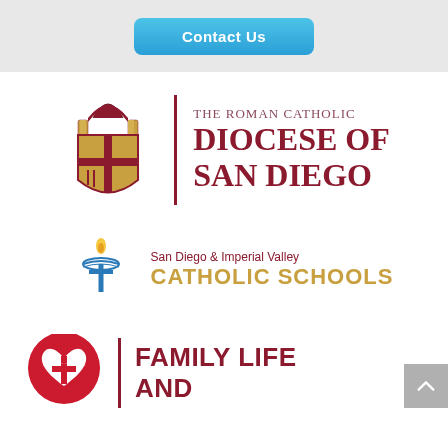[Figure (other): Blue gradient 'Contact Us' button in top bar]
[Figure (logo): The Roman Catholic Diocese of San Diego logo with episcopal shield and text]
[Figure (logo): San Diego & Imperial Valley Catholic Schools logo with cross/torch icon]
[Figure (logo): Family Life and (partially visible) logo with heart and dove icon]